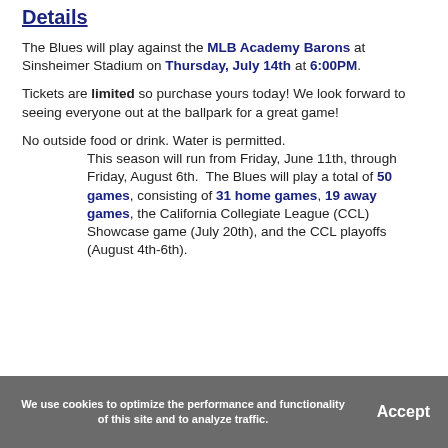Details
The Blues will play against the MLB Academy Barons at Sinsheimer Stadium on Thursday, July 14th at 6:00PM.
Tickets are limited so purchase yours today! We look forward to seeing everyone out at the ballpark for a great game!
No outside food or drink. Water is permitted. This season will run from Friday, June 11th, through Friday, August 6th. The Blues will play a total of 50 games, consisting of 31 home games, 19 away games, the California Collegiate League (CCL) Showcase game (July 20th), and the CCL playoffs (August 4th-6th).
We use cookies to optimize the performance and functionality of this site and to analyze traffic. Accept